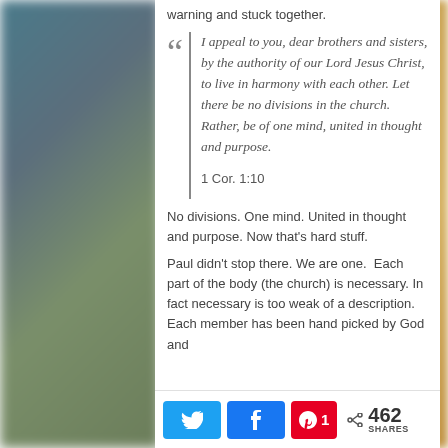warning and stuck together.
I appeal to you, dear brothers and sisters, by the authority of our Lord Jesus Christ, to live in harmony with each other. Let there be no divisions in the church. Rather, be of one mind, united in thought and purpose. 1 Cor. 1:10
No divisions. One mind. United in thought and purpose. Now that's hard stuff.
Paul didn't stop there. We are one. Each part of the body (the church) is necessary. In fact necessary is too weak of a description. Each member has been hand picked by God and
462 SHARES